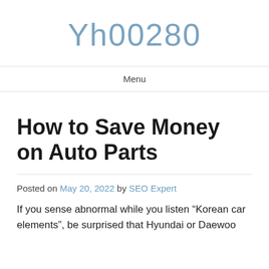Yh00280
Menu
How to Save Money on Auto Parts
Posted on May 20, 2022 by SEO Expert
If you sense abnormal while you listen “Korean car elements”, be surprised that Hyundai or Daewoo